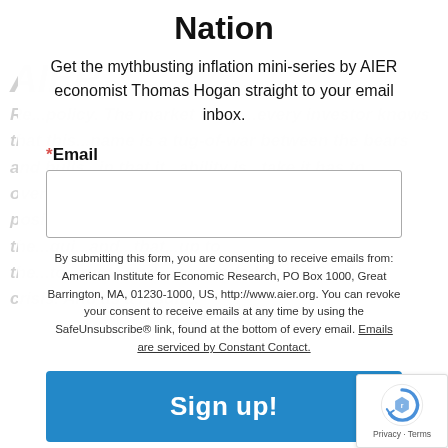Nation
Get the mythbusting inflation mini-series by AIER economist Thomas Hogan straight to your email inbox.
* Email
By submitting this form, you are consenting to receive emails from: American Institute for Economic Research, PO Box 1000, Great Barrington, MA, 01230-1000, US, http://www.aier.org. You can revoke your consent to receive emails at any time by using the SafeUnsubscribe® link, found at the bottom of every email. Emails are serviced by Constant Contact.
Sign up!